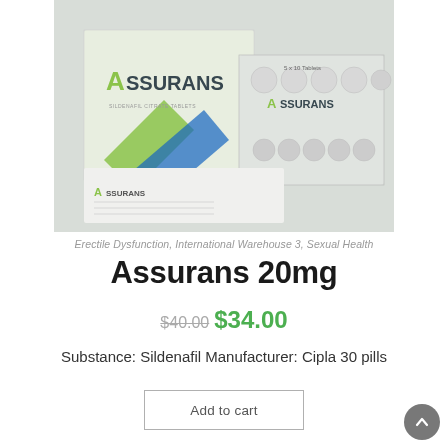[Figure (photo): Product photo of Assurans medication box and blister pack with tablets]
Erectile Dysfunction, International Warehouse 3, Sexual Health
Assurans 20mg
$40.00 $34.00
Substance: Sildenafil Manufacturer: Cipla 30 pills
Add to cart